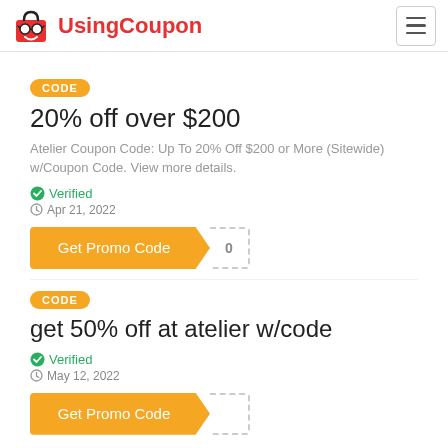UsingCoupon
CODE
20% off over $200
Atelier Coupon Code: Up To 20% Off $200 or More (Sitewide) w/Coupon Code. View more details.
Verified
Apr 21, 2022
Get Promo Code
CODE
get 50% off at atelier w/code
Verified
May 12, 2022